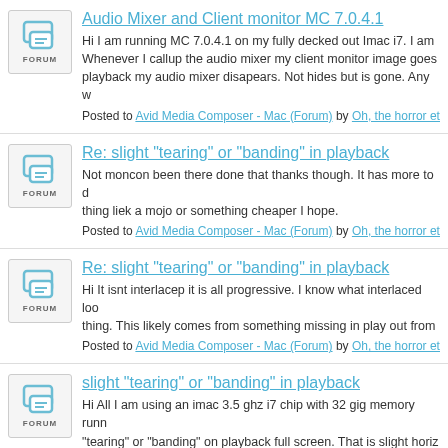Audio Mixer and Client monitor MC 7.0.4.1 — Hi I am running MC 7.0.4.1 on my fully decked out Imac i7. I am Whenever I callup the audio mixer my client monitor image goes playback my audio mixer disapears. Not hides but is gone. Any w — Posted to Avid Media Composer - Mac (Forum) by Oh, the horror etc. on Mon, Ap
Re: slight "tearing" or "banding" in playback — Not moncon been there done that thanks though. It has more to thing liek a mojo or something cheaper I hope. — Posted to Avid Media Composer - Mac (Forum) by Oh, the horror etc. on Thu, Ma
Re: slight "tearing" or "banding" in playback — Hi It isnt interlacep it is all progressive. I know what interlaced thing. This likely comes from something missing in play out from — Posted to Avid Media Composer - Mac (Forum) by Oh, the horror etc. on Thu, Ma
slight "tearing" or "banding" in playback — Hi All I am using an imac 3.5 ghz i7 chip with 32 gig memory runn "tearing" or "banding" on playback full screen. That is slight horiz get it no matter which i use — Posted to Avid Media Composer - Mac (Forum) by Oh, the horror etc. on Thu, Ma